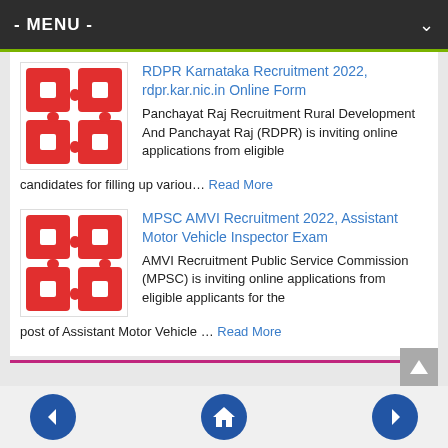- MENU -
[Figure (logo): Red and white puzzle-piece style logo icon for RDPR Karnataka recruitment listing]
RDPR Karnataka Recruitment 2022, rdpr.kar.nic.in Online Form
Panchayat Raj Recruitment Rural Development And Panchayat Raj (RDPR) is inviting online applications from eligible candidates for filling up variou… Read More
[Figure (logo): Red and white puzzle-piece style logo icon for MPSC AMVI recruitment listing]
MPSC AMVI Recruitment 2022, Assistant Motor Vehicle Inspector Exam
AMVI Recruitment Public Service Commission (MPSC) is inviting online applications from eligible applicants for the post of Assistant Motor Vehicle … Read More
← Home →